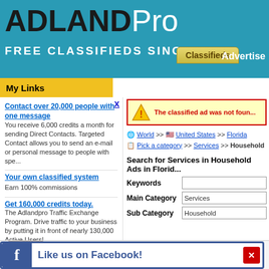[Figure (logo): ADLANDPro logo with teal background, FREE CLASSIFIEDS SINCE 1998 tagline]
My Links
The classified ad was not found
World >> United States >> Florida
Pick a category >> Services >> Household
Search for Services in Household Ads in Florida
| Field | Value |
| --- | --- |
| Keywords |  |
| Main Category | Services |
| Sub Category | Household |
Contact over 20,000 people with one message
You receive 6,000 credits a month for sending Direct Contacts. Targeted Contact allows you to send an e-mail or personal message to people with spe...
Your own classified system
Earn 100% commissions
Get 160,000 credits today.
The Adlandpro Traffic Exchange Program. Drive traffic to your business by putting it in front of nearly 130,000 Active Users!
Unlimited Traffic Here
Qu...
Safe-list.com and Safelis... businesses.. We have a vast... Lowest p...
Like us on Facebook!